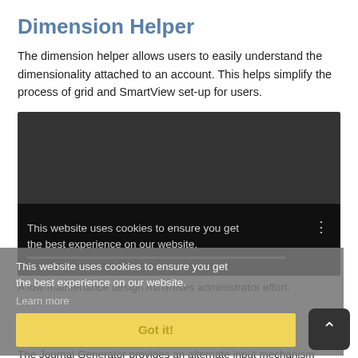Dimension Helper
The dimension helper allows users to easily understand the dimensionality attached to an account. This helps simplify the process of grid and SmartView set-up for users.
[Figure (screenshot): A dark video player screenshot with a cookie consent overlay. The video area is mostly dark. A black semi-transparent bar at the bottom shows text: 'This website uses cookies to ensure you get the best experience on our website.' with a progress bar and three-dot menu icon.]
A low-maintenance design minimises administrator effort.
Learn more
Got it!
Journal Generator
The Journal Generator provides an alternate input mechanism